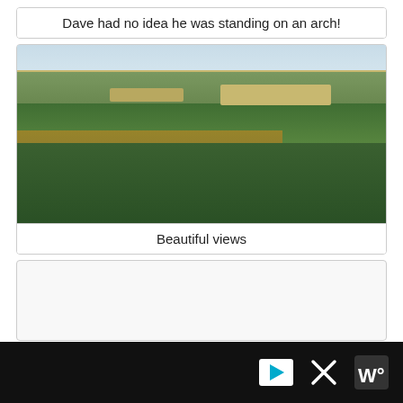Dave had no idea he was standing on an arch!
[Figure (photo): Landscape photo showing forested hills with autumn foliage and rock cliff outcroppings in the distance under a hazy sky]
Beautiful views
[Figure (other): Empty/blank card area below the photo card]
[Figure (other): Black footer bar with advertisement play button icon, close X button, and W logo]